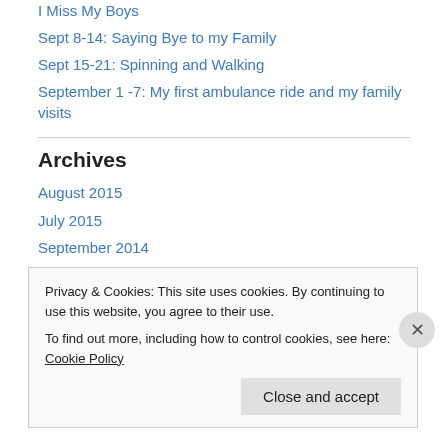I Miss My Boys
Sept 8-14: Saying Bye to my Family
Sept 15-21: Spinning and Walking
September 1 -7: My first ambulance ride and my family visits
Archives
August 2015
July 2015
September 2014
August 2014
June 2014
May 2014
Privacy & Cookies: This site uses cookies. By continuing to use this website, you agree to their use.
To find out more, including how to control cookies, see here: Cookie Policy